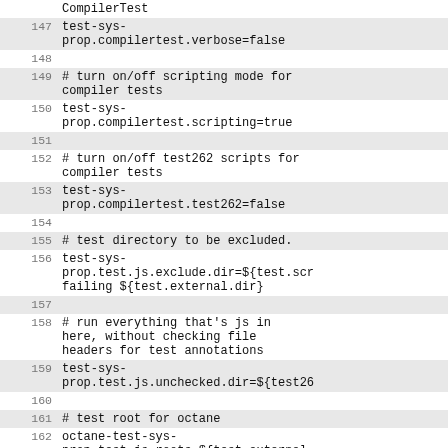CompilerTest
147    test-sys-prop.compilertest.verbose=false
148
149    # turn on/off scripting mode for compiler tests
150    test-sys-prop.compilertest.scripting=true
151
152    # turn on/off test262 scripts for compiler tests
153    test-sys-prop.compilertest.test262=false
154
155    # test directory to be excluded.
156    test-sys-prop.test.js.exclude.dir=${test.scr failing ${test.external.dir}
157
158    # run everything that's js in here, without checking file headers for test annotations
159    test-sys-prop.test.js.unchecked.dir=${test26
160
161    # test root for octane
162    octane-test-sys-prop.test.js.roots=${test.external.